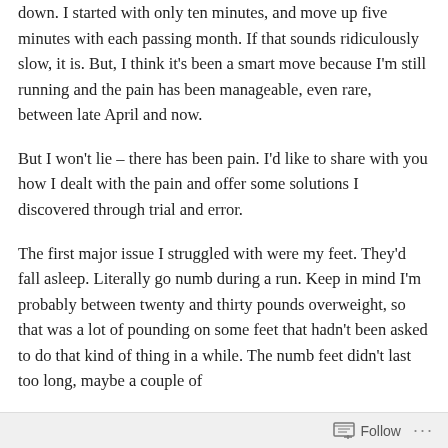down.  I started with only ten minutes, and move up five minutes with each passing month.  If that sounds ridiculously slow, it is.  But, I think it's been a smart move because I'm still running and the pain has been manageable, even rare, between late April and now.
But I won't lie – there has been pain.  I'd like to share with you how I dealt with the pain and offer some solutions I discovered through trial and error.
The first major issue I struggled with were my feet.  They'd fall asleep.  Literally go numb during a run.  Keep in mind I'm probably between twenty and thirty pounds overweight, so that was a lot of pounding on some feet that hadn't been asked to do that kind of thing in a while.  The numb feet didn't last too long, maybe a couple of
Follow ···